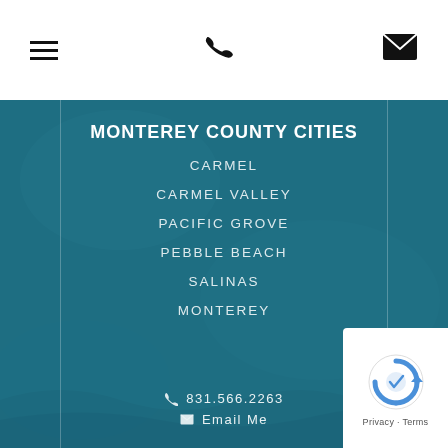Navigation bar with hamburger menu, phone icon, and email icon
MONTEREY COUNTY CITIES
CARMEL
CARMEL VALLEY
PACIFIC GROVE
PEBBLE BEACH
SALINAS
MONTEREY
831.566.2263
Email Me
[Figure (logo): reCAPTCHA badge with Google reCAPTCHA logo and Privacy - Terms text]